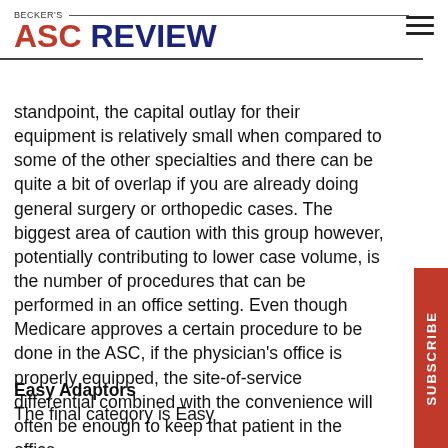BECKER'S ASC REVIEW
standpoint, the capital outlay for their equipment is relatively small when compared to some of the other specialties and there can be quite a bit of overlap if you are already doing general surgery or orthopedic cases. The biggest area of caution with this group however, potentially contributing to lower case volume, is the number of procedures that can be performed in an office setting. Even though Medicare approves a certain procedure to be done in the ASC, if the physician's office is properly equipped, the site-of-service differential combined with the convenience will often be enough to keep that patient in the office.
Easy Adaptors
The final category is Easy